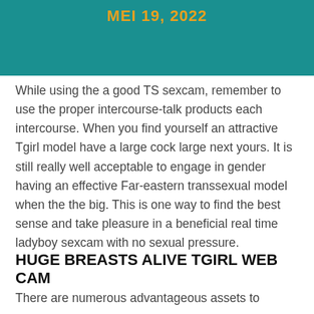MEI 19, 2022
While using the a good TS sexcam, remember to use the proper intercourse-talk products each intercourse. When you find yourself an attractive Tgirl model have a large cock large next yours. It is still really well acceptable to engage in gender having an effective Far-eastern transsexual model when the the big. This is one way to find the best sense and take pleasure in a beneficial real time ladyboy sexcam with no sexual pressure.
HUGE BREASTS ALIVE TGIRL WEB CAM
There are numerous advantageous assets to